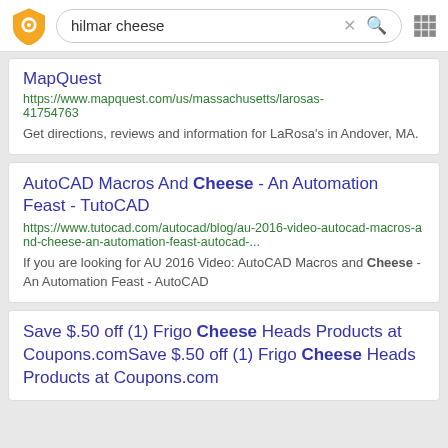hilmar cheese
MapQuest
https://www.mapquest.com/us/massachusetts/larosas-41754763
Get directions, reviews and information for LaRosa's in Andover, MA.
AutoCAD Macros And Cheese - An Automation Feast - TutoCAD
https://www.tutocad.com/autocad/blog/au-2016-video-autocad-macros-and-cheese-an-automation-feast-autocad-...
If you are looking for AU 2016 Video: AutoCAD Macros and Cheese - An Automation Feast - AutoCAD
Save $.50 off (1) Frigo Cheese Heads Products at Coupons.comSave $.50 off (1) Frigo Cheese Heads Products at Coupons.com